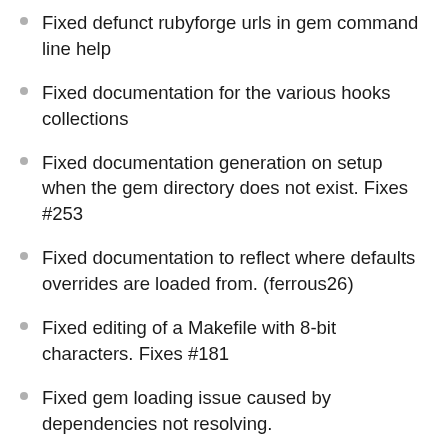Fixed defunct rubyforge urls in gem command line help
Fixed documentation for the various hooks collections
Fixed documentation generation on setup when the gem directory does not exist. Fixes #253
Fixed documentation to reflect where defaults overrides are loaded from. (ferrous26)
Fixed editing of a Makefile with 8-bit characters. Fixes #181
Fixed gem loading issue caused by dependencies not resolving.
Fixed independent testing of